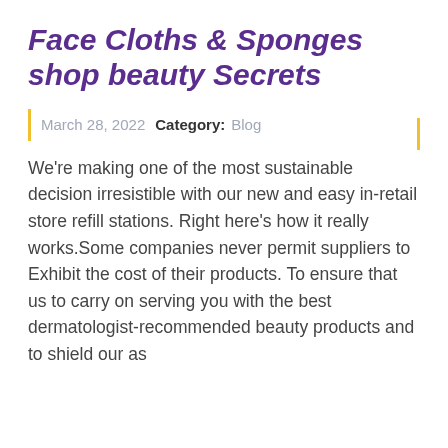Face Cloths & Sponges shop beauty Secrets
March 28, 2022  Category:  Blog
We're making one of the most sustainable decision irresistible with our new and easy in-retail store refill stations. Right here's how it really works.Some companies never permit suppliers to Exhibit the cost of their products. To ensure that us to carry on serving you with the best dermatologist-recommended beauty products and to shield our as